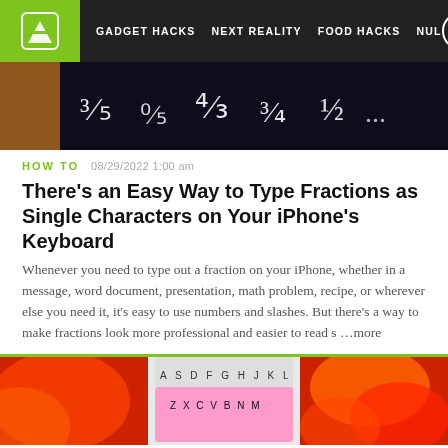GADGET HACKS  NEXT REALITY  FOOD HACKS  NUL
[Figure (photo): Dark background with white fraction characters (3/5, 0/5, 4/3, 3/4, 1/2 and others) on a black or dark surface, resembling a keyboard or display]
HOW TO   08/29/2022 1:00 am
There's an Easy Way to Type Fractions as Single Characters on Your iPhone's Keyboard
Whenever you need to type out a fraction on your iPhone, whether in a message, word document, presentation, math problem, recipe, or wherever else you need it, it's easy to use numbers and slashes. But there's a way to make fractions look more professional and easier to read s …more
[Figure (photo): Three-panel image strip showing: left panel with red/orange abstract pattern, center panel with a pink/white smartphone keyboard showing keys A S D F G H J K L and Z X C V B N M, right panel with colorful abstract red/orange swirls]
HOW TO   09/19/2014 7:01 pm
The 6 Best Third-Party Keyboards Available Right Now